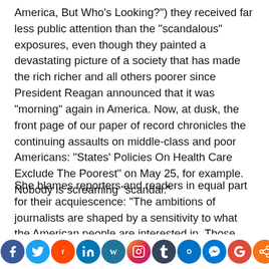America, But Who's Looking?") they received far less public attention than the "scandalous" exposures, even though they painted a devastating picture of a society that has made the rich richer and all others poorer since President Reagan announced that it was "morning" again in America. Now, at dusk, the front page of our paper of record chronicles the continuing assaults on middle-class and poor Americans: "States' Policies On Health Care Exclude The Poorest" on May 25, for example. Nobody is screaming "scandal."
She blames reporters and readers in equal part for their acquiescence: "The ambitions of journalists are shaped by a sensitivity to what the American people are interested in. Those interests consist mainly of pop stars, diets, and sensational murders." She likely was thinking
[Figure (other): Social media sharing icon bar at bottom of page: Facebook, Twitter, Reddit, LinkedIn, WordPress, Instagram, Tumblr, Outlook, Messenger, Google, Share]